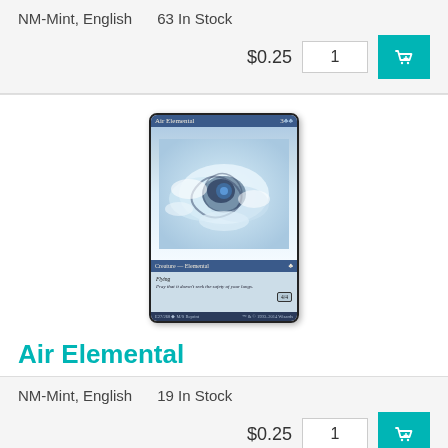NM-Mint, English    63 In Stock
$0.25    1
[Figure (illustration): Magic: The Gathering card 'Air Elemental' featuring a blue creature — Elemental with Flying ability. Card shows a swirling air/cloud elemental creature art, type line 'Creature — Elemental', flavor text 'Pray that it doesn't seek the safety of your lungs.', power/toughness 4/4.]
Air Elemental
NM-Mint, English    19 In Stock
$0.25    1